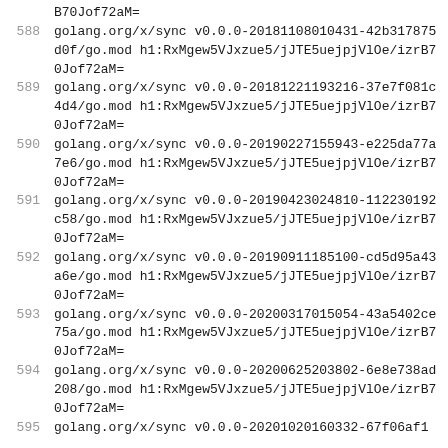B70Jof72aM=
588   golang.org/x/sync v0.0.0-20181108010431-42b317875d0f/go.mod h1:RxMgew5VJxzue5/jJTE5uejpjVlOe/izrB70Jof72aM=
589   golang.org/x/sync v0.0.0-20181221193216-37e7f081c4d4/go.mod h1:RxMgew5VJxzue5/jJTE5uejpjVlOe/izrB70Jof72aM=
590   golang.org/x/sync v0.0.0-20190227155943-e225da77a7e6/go.mod h1:RxMgew5VJxzue5/jJTE5uejpjVlOe/izrB70Jof72aM=
591   golang.org/x/sync v0.0.0-20190423024810-112230192c58/go.mod h1:RxMgew5VJxzue5/jJTE5uejpjVlOe/izrB70Jof72aM=
592   golang.org/x/sync v0.0.0-20190911185100-cd5d95a43a6e/go.mod h1:RxMgew5VJxzue5/jJTE5uejpjVlOe/izrB70Jof72aM=
593   golang.org/x/sync v0.0.0-20200317015054-43a5402ce75a/go.mod h1:RxMgew5VJxzue5/jJTE5uejpjVlOe/izrB70Jof72aM=
594   golang.org/x/sync v0.0.0-20200625203802-6e8e738ad208/go.mod h1:RxMgew5VJxzue5/jJTE5uejpjVlOe/izrB70Jof72aM=
595   golang.org/x/sync v0.0.0-20201020160332-67f06af1